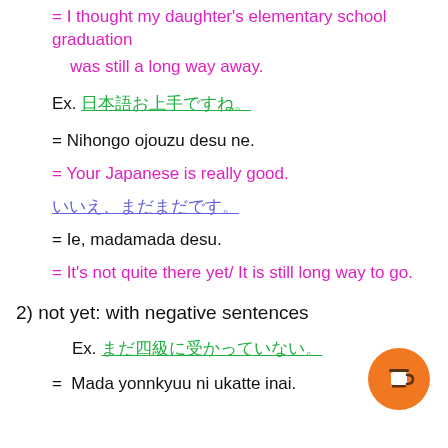= I thought my daughter's elementary school graduation was still a long way away.
Ex. 日本語お上手ですね。
= Nihongo ojouzu desu ne.
= Your Japanese is really good.
いいえ、まだまだです。
= Ie, madamada desu.
= It's not quite there yet/ It is still long way to go.
2) not yet: with negative sentences
Ex. まだ四級に受かっていない。
=  Mada yonnkyuu ni ukatte inai.